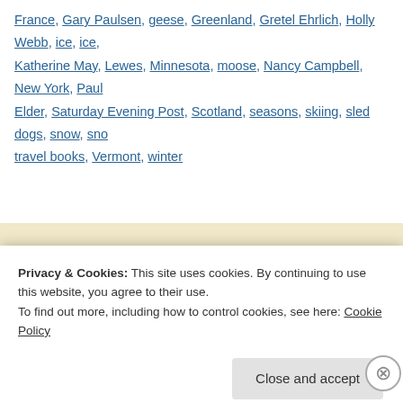France, Gary Paulsen, geese, Greenland, Gretel Ehrlich, Holly Webb, ice, ice, Katherine May, Lewes, Minnesota, moose, Nancy Campbell, New York, Paul Elder, Saturday Evening Post, Scotland, seasons, skiing, sled dogs, snow, sno travel books, Vermont, winter
Snow, Dog, Foot by Claudio Morand... Press Novella
By Rebecca Foster on February 4, 2020 | 9 Comments
Privacy & Cookies: This site uses cookies. By continuing to use this website, you agree to their use.
To find out more, including how to control cookies, see here: Cookie Policy